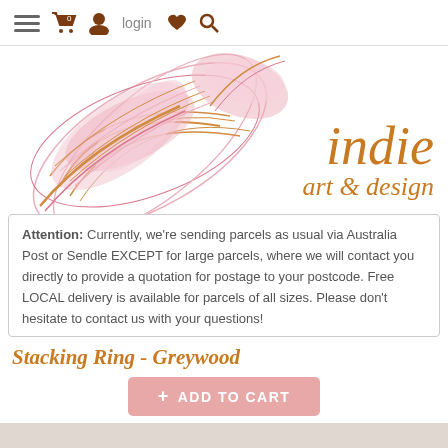≡  🛒 0  👤 login  ♥  🔍
[Figure (logo): Indie Art & Design logo with decorative pink and orange floral/botanical line art illustration on the left, and the text 'indie art & design' in italic orange serif font on the right]
Attention: Currently, we're sending parcels as usual via Australia Post or Sendle EXCEPT for large parcels, where we will contact you directly to provide a quotation for postage to your postcode. Free LOCAL delivery is available for parcels of all sizes. Please don't hesitate to contact us with your questions!
Stacking Ring - Greywood
[Figure (other): Pink 'ADD TO CART' button]